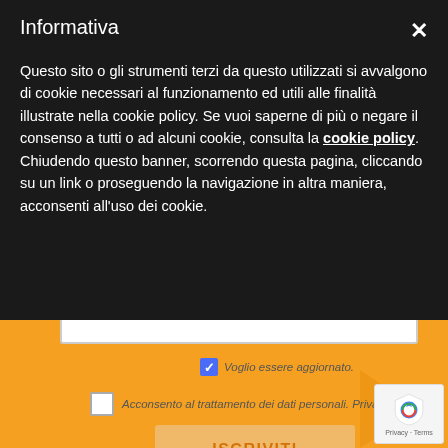Informativa
Questo sito o gli strumenti terzi da questo utilizzati si avvalgono di cookie necessari al funzionamento ed utili alle finalità illustrate nella cookie policy. Se vuoi saperne di più o negare il consenso a tutti o ad alcuni cookie, consulta la cookie policy.
Chiudendo questo banner, scorrendo questa pagina, cliccando su un link o proseguendo la navigazione in altra maniera, acconsenti all'uso dei cookie.
Voglio essere aggiornato.
Acconsento al trattamento dei dati personali. Privacy policy
ISCRIVITI
[Figure (logo): Google reCAPTCHA badge with shield icon, showing Privacy · Terms text]